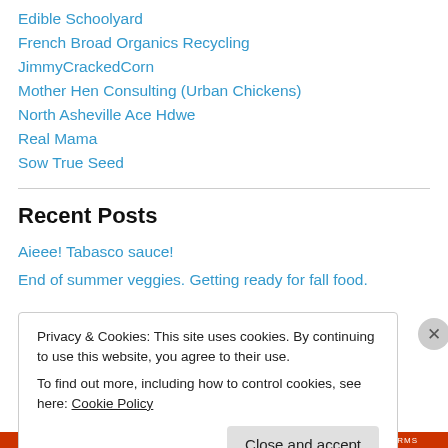Edible Schoolyard
French Broad Organics Recycling
JimmyCrackedCorn
Mother Hen Consulting (Urban Chickens)
North Asheville Ace Hdwe
Real Mama
Sow True Seed
Recent Posts
Aieee! Tabasco sauce!
End of summer veggies. Getting ready for fall food.
Privacy & Cookies: This site uses cookies. By continuing to use this website, you agree to their use. To find out more, including how to control cookies, see here: Cookie Policy
Close and accept